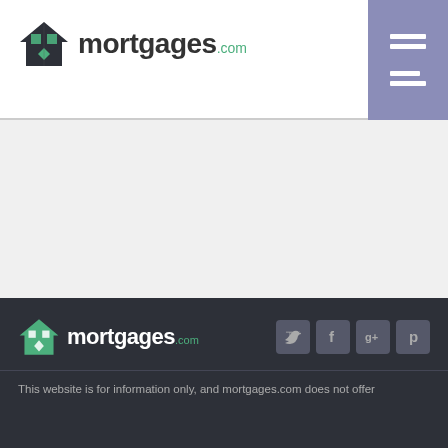[Figure (logo): mortgages.com logo with house icon in header]
[Figure (other): Hamburger menu button with three horizontal lines on purple/lavender background]
[Figure (other): Main content area - light gray background, empty]
[Figure (logo): mortgages.com logo in footer on dark background]
[Figure (other): Social media icons: Twitter, Facebook, Google+, Pinterest]
This website is for information only, and mortgages.com does not offer